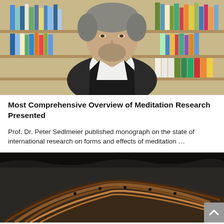[Figure (photo): A middle-aged man with curly grey hair and a beard, wearing a dark blazer over a white shirt, standing in front of bookshelves filled with books and binders.]
Most Comprehensive Overview of Meditation Research Presented
Prof. Dr. Peter Sedlmeier published monograph on the state of international research on forms and effects of meditation …
[Figure (photo): A dark, industrial interior photograph showing curved wooden or metal structural elements, possibly inside a mine or underground facility.]